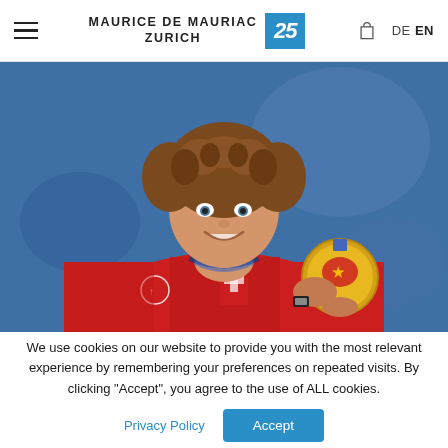MAURICE DE MAURIAC ZURICH — 25 — DE EN
[Figure (photo): Young man with curly hair smiling, wearing a red Swiss Olympic team jacket, holding up a gold Olympic medal on a blue ribbon. Blue background.]
We use cookies on our website to provide you with the most relevant experience by remembering your preferences on repeated visits. By clicking "Accept", you agree to the use of ALL cookies.
Privacy Policy  Accept